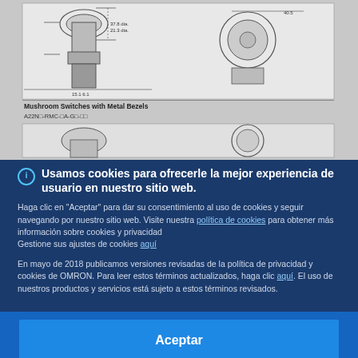[Figure (engineering-diagram): Technical engineering diagram showing Mushroom Switches with Metal Bezels, with dimension annotations and cross-section views]
Mushroom Switches with Metal Bezels
A22N□-RMC-□A-G□-□□
Usamos cookies para ofrecerle la mejor experiencia de usuario en nuestro sitio web.
Haga clic en "Aceptar" para dar su consentimiento al uso de cookies y seguir navegando por nuestro sitio web. Visite nuestra política de cookies para obtener más información sobre cookies y privacidad
Gestione sus ajustes de cookies aquí
En mayo de 2018 publicamos versiones revisadas de la política de privacidad y cookies de OMRON. Para leer estos términos actualizados, haga clic aquí. El uso de nuestros productos y servicios está sujeto a estos términos revisados.
Aceptar